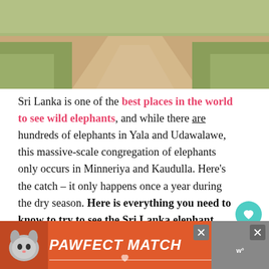[Figure (photo): Dirt path through grassy terrain, top portion of an outdoor nature/safari scene in Sri Lanka]
Sri Lanka is one of the best places in the world to see wild elephants, and while there are hundreds of elephants in Yala and Udawalawe, this massive-scale congregation of elephants only occurs in Minneriya and Kaudulla. Here's the catch – it only happens once a year during the dry season. Here is everything you need to know to try to see the Sri Lanka elephant gathering in Minneriya National Park and Kaudulla National Park!
[Figure (other): PAWFECT MATCH advertisement banner in orange with cat image and close buttons]